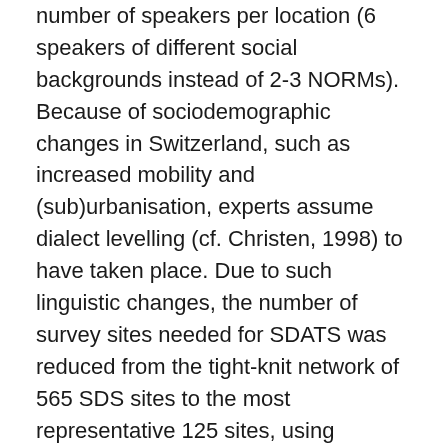number of speakers per location (6 speakers of different social backgrounds instead of 2-3 NORMs). Because of sociodemographic changes in Switzerland, such as increased mobility and (sub)urbanisation, experts assume dialect levelling (cf. Christen, 1998) to have taken place. Due to such linguistic changes, the number of survey sites needed for SDATS was reduced from the tight-knit network of 565 SDS sites to the most representative 125 sites, using digitised data (Scherrer & Stoeckle, 2016).
We present best practices for this typical dialectological task and demonstrate the effects of different kinds of methods along with validation approaches. We investigate different methods used in dialectometry and biology for spatial analysis, and compare their effects and usability for the problem of site reduction. The methods demonstrated include hierarchical clustering with different algorithms (e.g., UPGMA and Ward's), a partitioning clustering